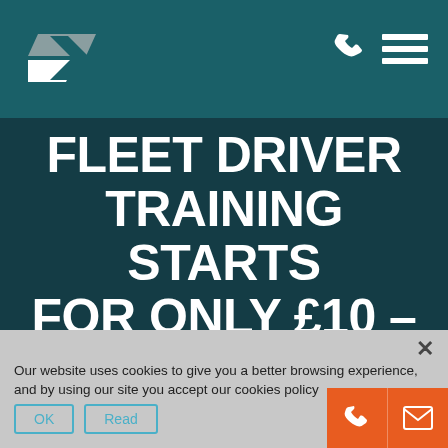Fleet Driver Training website header with logo and navigation icons
FLEET DRIVER TRAINING STARTS FOR ONLY £10 –
Our website uses cookies to give you a better browsing experience, and by using our site you accept our cookies policy
OK  Read